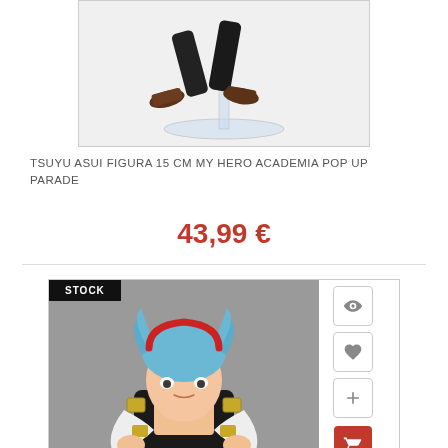[Figure (photo): Close-up of a figurine's legs and feet on a transparent stand, showing brown shoes and black pants]
TSUYU ASUI FIGURA 15 CM MY HERO ACADEMIA POP UP PARADE
43,99 €
[Figure (photo): Product card showing an anime figurine with blue hair and black outfit, labeled STOCK, with action buttons for view, favorite, add, and cart]